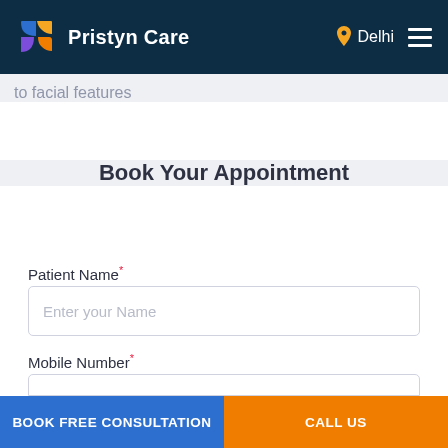Pristyn Care | Delhi
to facial features
Book Your Appointment
Patient Name*
Enter your Name
Mobile Number*
BOOK FREE CONSULTATION
CALL US